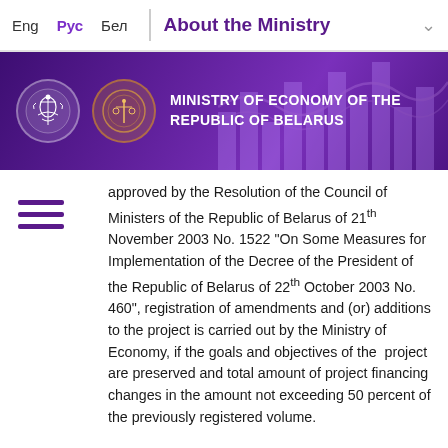Eng  Рус  Бел  |  About the Ministry
[Figure (illustration): Ministry of Economy of the Republic of Belarus banner with two official seals/logos on purple background with bar chart decoration]
approved by the Resolution of the Council of Ministers of the Republic of Belarus of 21th November 2003 No. 1522 "On Some Measures for Implementation of the Decree of the President of the Republic of Belarus of 22th October 2003 No. 460", registration of amendments and (or) additions to the project is carried out by the Ministry of Economy, if the goals and objectives of the project are preserved and total amount of project financing changes in the amount not exceeding 50 percent of the previously registered volume.
If the change in total amount of project financing entails a change in the amount of